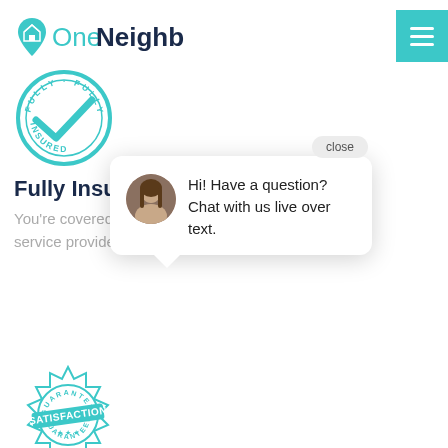[Figure (logo): OneNeighbor logo with teal house/location pin icon and text 'OneNeighbor']
[Figure (illustration): Circular teal badge reading 'FULLY INSURED' with a checkmark in the center]
Fully Insured Professionals
You're covered! All OneNeighbor service providers carry liability i
[Figure (screenshot): Chat popup widget with close button, avatar photo of a woman, and message: 'Hi! Have a question? Chat with us live over text.']
[Figure (illustration): Circular teal stamp badge reading 'GUARANTEED SATISFACTION GUARANTEED']
100% Quality Guarantee
If you're not happy, you won't be charged. You have